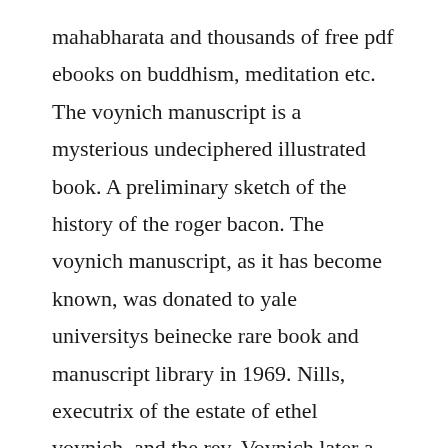mahabharata and thousands of free pdf ebooks on buddhism, meditation etc. The voynich manuscript is a mysterious undeciphered illustrated book. A preliminary sketch of the history of the roger bacon. The voynich manuscript, as it has become known, was donated to yale universitys beinecke rare book and manuscript library in 1969. Nills, executrix of the estate of ethel voynich, and the rev. Voynich later a rare book dealer in new york who discovered it in.
A new study claims that the voynich